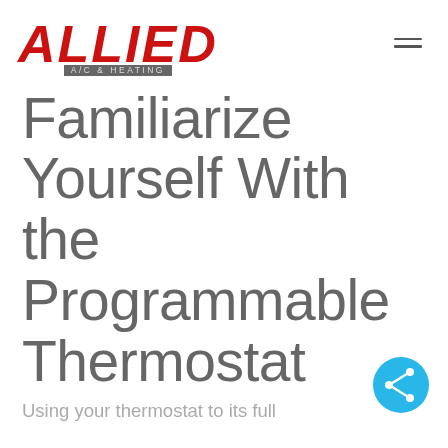ALLIED A/C & HEATING
Familiarize Yourself With the Programmable Thermostat
Using your thermostat to its full